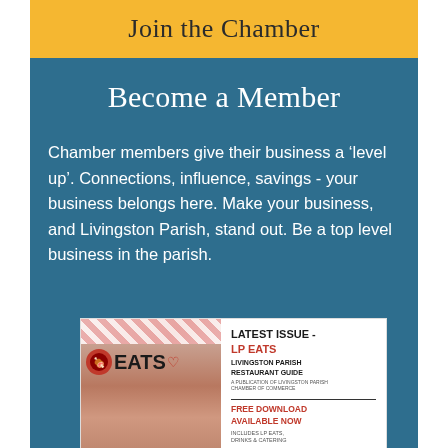Join the Chamber
Become a Member
Chamber members give their business a 'level up'. Connections, influence, savings - your business belongs here. Make your business, and Livingston Parish, stand out. Be a top level business in the parish.
[Figure (other): Magazine cover mockup showing 'LP EATS' - Livingston Parish Restaurant Guide with food photos. Right side shows 'LATEST ISSUE - LP EATS', 'LIVINGSTON PARISH RESTAURANT GUIDE', 'FREE DOWNLOAD AVAILABLE NOW', 'INCLUDES LP EATS, DRINKS & CATERING']